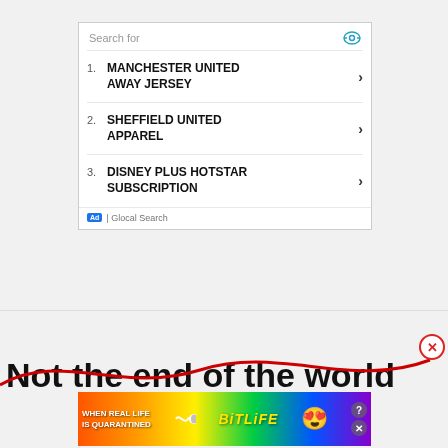[Figure (screenshot): Search ad box with Glocal Search branding showing three sponsored search results: 1. MANCHESTER UNITED AWAY JERSEY, 2. SHEFFIELD UNITED APPAREL, 3. DISNEY PLUS HOTSTAR SUBSCRIPTION]
Not the end of the world
[Figure (screenshot): BitLife mobile game advertisement banner with rainbow background showing 'WHEN REAL LIFE IS QUARANTINED' text and BitLife logo with emoji characters]